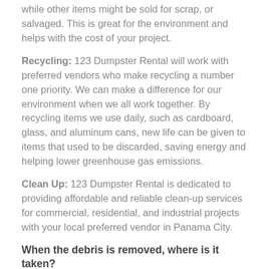while other items might be sold for scrap, or salvaged. This is great for the environment and helps with the cost of your project.
Recycling: 123 Dumpster Rental will work with preferred vendors who make recycling a number one priority. We can make a difference for our environment when we all work together. By recycling items we use daily, such as cardboard, glass, and aluminum cans, new life can be given to items that used to be discarded, saving energy and helping lower greenhouse gas emissions.
Clean Up: 123 Dumpster Rental is dedicated to providing affordable and reliable clean-up services for commercial, residential, and industrial projects with your local preferred vendor in Panama City.
When the debris is removed, where is it taken?
Depending on what items you have, some can be recycled such as glass, wood, paper, metal, plastic, or e-waste. Other items may be donated to local charities. Any leftover waste is taken to the transfer station or landfill.
Call to learn more: (866) 222-1072